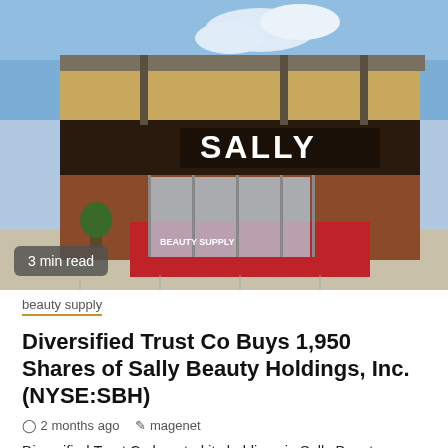[Figure (photo): Exterior photo of a Sally Beauty Supply retail store with brick facade and large SALLY sign]
3 min read
beauty supply
Diversified Trust Co Buys 1,950 Shares of Sally Beauty Holdings, Inc. (NYSE:SBH)
2 months ago   magenet
Diversified Trust Co boosted its holdings in Sally Beauty Holdings, Inc. (NYSE:SBH – Get Rating) by 8.4% in the